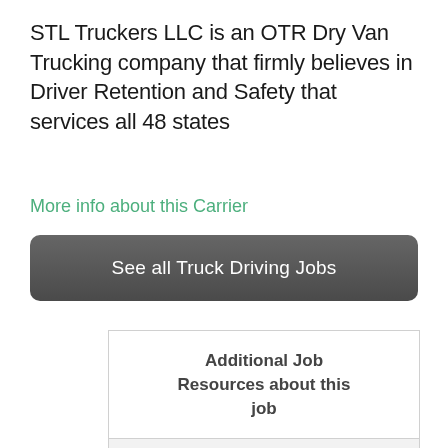STL Truckers LLC is an OTR Dry Van Trucking company that firmly believes in Driver Retention and Safety that services all 48 states
More info about this Carrier
See all Truck Driving Jobs
Additional Job Resources about this job
Information about Company Drivers
Information about Team